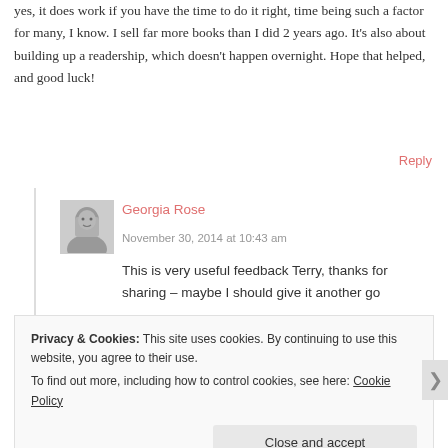yes, it does work if you have the time to do it right, time being such a factor for many, I know. I sell far more books than I did 2 years ago. It's also about building up a readership, which doesn't happen overnight. Hope that helped, and good luck!
Reply
[Figure (photo): Black and white portrait photo of Georgia Rose]
Georgia Rose
November 30, 2014 at 10:43 am
This is very useful feedback Terry, thanks for sharing – maybe I should give it another go
Privacy & Cookies: This site uses cookies. By continuing to use this website, you agree to their use.
To find out more, including how to control cookies, see here: Cookie Policy
Close and accept